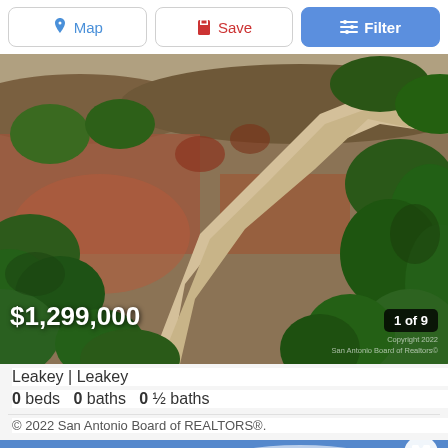Map | Save | Filter
[Figure (photo): Aerial drone photograph of rural Texas land in Leakey showing rolling terrain with oak trees, dry creek bed, and reddish-brown soil. Price overlay: $1,299,000. Image counter: 1 of 9. Watermark: Copyright 2022 San Antonio Board of Realtors]
Leakey | Leakey
0 beds   0 baths   0 ½ baths
© 2022 San Antonio Board of REALTORS®.
[Figure (photo): Bottom edge of a second property listing photo showing blue sky with clouds]